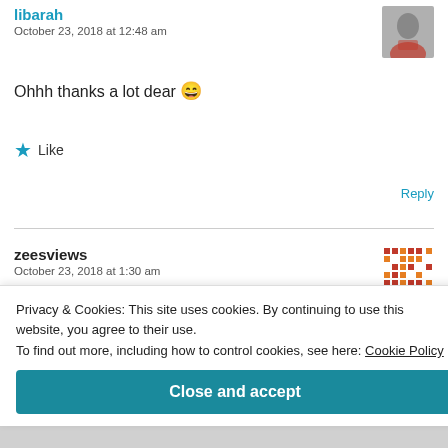libarah
October 23, 2018 at 12:48 am
Ohhh thanks a lot dear 😄
★ Like
Reply
zeesviews
October 23, 2018 at 1:30 am
Privacy & Cookies: This site uses cookies. By continuing to use this website, you agree to their use. To find out more, including how to control cookies, see here: Cookie Policy
Close and accept